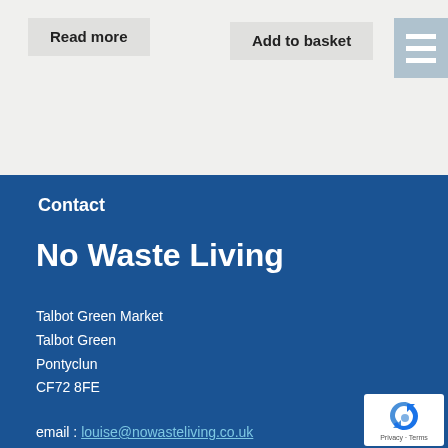Read more
Add to basket
Contact
No Waste Living
Talbot Green Market
Talbot Green
Pontyclun
CF72 8FE
email : louise@nowasteliving.co.uk